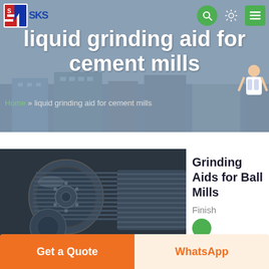SKS
liquid grinding aid for cement mills
Home » liquid grinding aid for cement mills
[Figure (photo): Industrial grinding mill rollers/wheels, close-up view showing heavy machinery with ridged metal surfaces]
Grinding Aids for Ball Mills
Finish
Get a Quote
WhatsApp